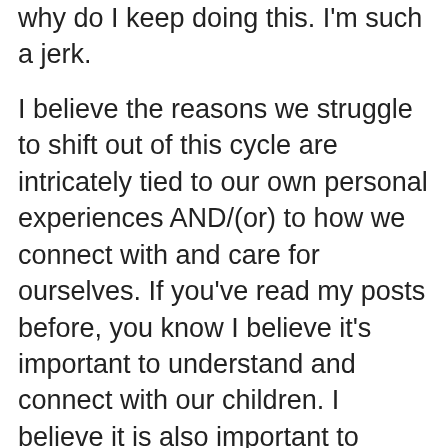why do I keep doing this. I'm such a jerk.
I believe the reasons we struggle to shift out of this cycle are intricately tied to our own personal experiences AND/(or) to how we connect with and care for ourselves. If you've read my posts before, you know I believe it's important to understand and connect with our children. I believe it is also important to understand and connect with ourselves. From a caregiving perspective, if we don't care for ourselves, we can't possibly care for our children; striving to parent peacefully when you're depleted is like trying to run a marathon when you